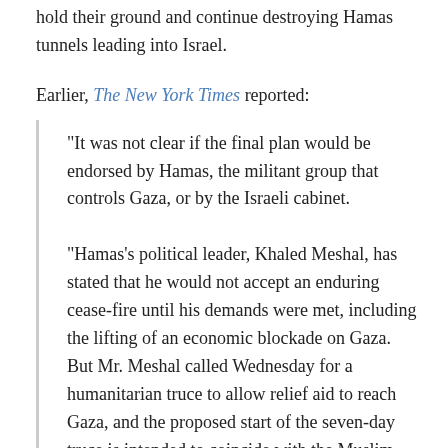hold their ground and continue destroying Hamas tunnels leading into Israel.
Earlier, The New York Times reported:
"It was not clear if the final plan would be endorsed by Hamas, the militant group that controls Gaza, or by the Israeli cabinet.
"Hamas's political leader, Khaled Meshal, has stated that he would not accept an enduring cease-fire until his demands were met, including the lifting of an economic blockade on Gaza. But Mr. Meshal called Wednesday for a humanitarian truce to allow relief aid to reach Gaza, and the proposed start of the seven-day truce is intended to coincide with the Muslim feast of Eid al-Fitr, which signals the end of Ramadan. The Israeli cabinet was expected to discuss the plan on Friday afternoon, Israel's Haaretz newspaper...